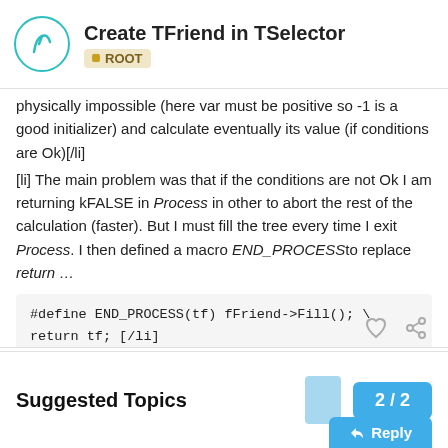Create TFriend in TSelector — ROOT
physically impossible (here var must be positive so -1 is a good initializer) and calculate eventually its value (if conditions are Ok)[/li]
[li] The main problem was that if the conditions are not Ok I am returning kFALSE in Process in other to abort the rest of the calculation (faster). But I must fill the tree every time I exit Process. I then defined a macro END_PROCESSto replace return …
[li]Save the TFriend in Terminate().[/li][/ol]
J.
Suggested Topics
2 / 2